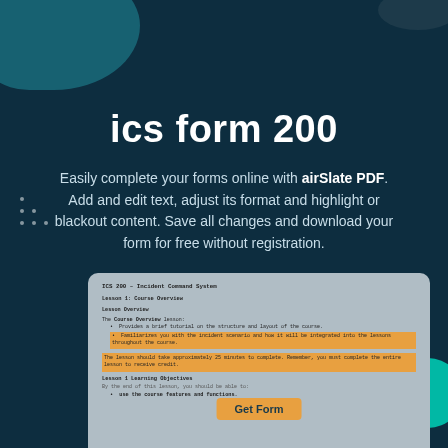ics form 200
Easily complete your forms online with airSlate PDF. Add and edit text, adjust its format and highlight or blackout content. Save all changes and download your form for free without registration.
[Figure (screenshot): Preview of ICS 200 - Incident Command System document showing Lesson 1: Course Overview with lesson overview text, bullet points, and a Get Form button overlay in orange.]